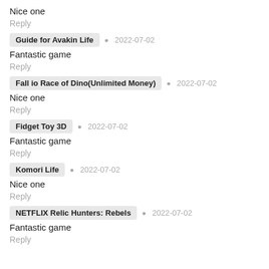Nice one
Reply
Guide for Avakin Life  2022-07-02
Fantastic game
Reply
Fall io Race of Dino(Unlimited Money)  2022-07-02
Nice one
Reply
Fidget Toy 3D  2022-07-02
Fantastic game
Reply
Komori Life  2022-07-02
Nice one
Reply
NETFLIX Relic Hunters: Rebels  2022-07-02
Fantastic game
Reply